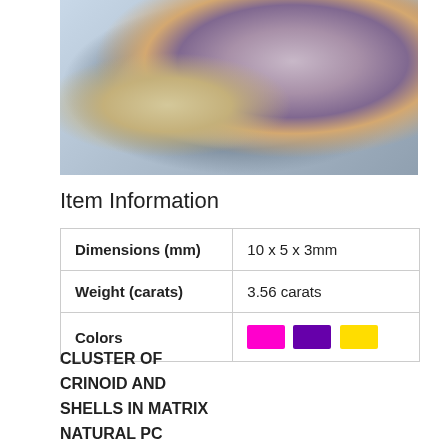[Figure (photo): Close-up photo of a cluster of crinoid and shells in matrix, shown wet. The specimen appears segmented with purple/grey, brown, and beige coloring on a light background.]
Item Information
| Dimensions (mm) | 10 x 5 x 3mm |
| Weight (carats) | 3.56 carats |
| Colors | [magenta, purple, yellow swatches] |
CLUSTER OF
CRINOID AND
SHELLS IN MATRIX
NATURAL PC
PICTURE TAKEN WET